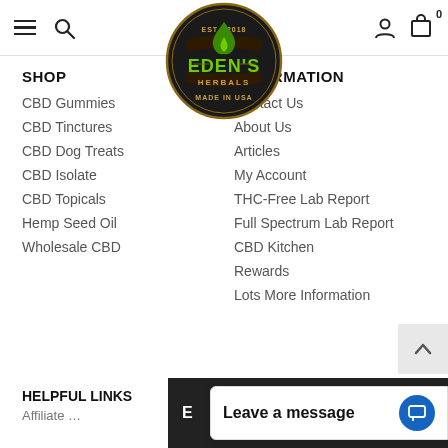Navigation bar with hamburger, search, Eden's Herbals logo, user and cart icons
[Figure (logo): Eden's Herbals circular badge logo. Dark circle with gold border. Text: EST. 2018, EDEN'S HERBALS, MADE IN USA. Green flame/leaf icon in center.]
SHOP
CBD Gummies
CBD Tinctures
CBD Dog Treats
CBD Isolate
CBD Topicals
Hemp Seed Oil
Wholesale CBD
INFORMATION
Contact Us
About Us
Articles
My Account
THC-Free Lab Report
Full Spectrum Lab Report
CBD Kitchen
Rewards
Lots More Information
HELPFUL LINKS
Leave a message